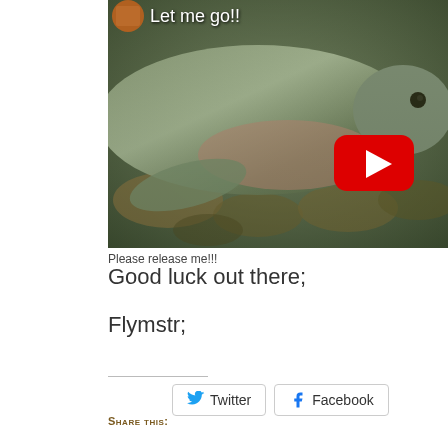[Figure (screenshot): YouTube video thumbnail showing an underwater close-up of a fish with a red YouTube play button overlay. Title text reads 'Let me go!!' with a small avatar in the top-left corner.]
Please release me!!!
Good luck out there;
Flymstr;
Share this: